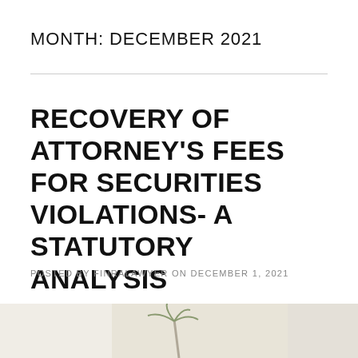MONTH: DECEMBER 2021
RECOVERY OF ATTORNEY'S FEES FOR SECURITIES VIOLATIONS- A STATUTORY ANALYSIS
POSTED BY FINRALAWYER ON DECEMBER 1, 2021
[Figure (photo): Thumbnail image at bottom of page, partially visible, appears to show a palm tree or similar outdoor scene]